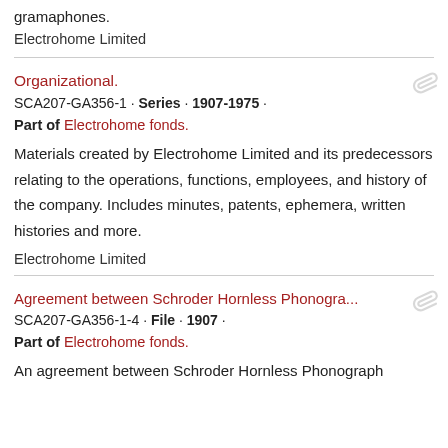gramaphones.
Electrohome Limited
Organizational.
SCA207-GA356-1 · Series · 1907-1975 ·
Part of Electrohome fonds.
Materials created by Electrohome Limited and its predecessors relating to the operations, functions, employees, and history of the company. Includes minutes, patents, ephemera, written histories and more.
Electrohome Limited
Agreement between Schroder Hornless Phonogra...
SCA207-GA356-1-4 · File · 1907 ·
Part of Electrohome fonds.
An agreement between Schroder Hornless Phonograph